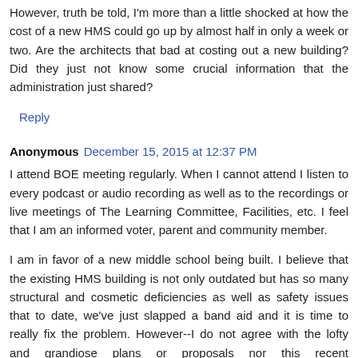However, truth be told, I'm more than a little shocked at how the cost of a new HMS could go up by almost half in only a week or two. Are the architects that bad at costing out a new building? Did they just not know some crucial information that the administration just shared?
Reply
Anonymous  December 15, 2015 at 12:37 PM
I attend BOE meeting regularly. When I cannot attend I listen to every podcast or audio recording as well as to the recordings or live meetings of The Learning Committee, Facilities, etc. I feel that I am an informed voter, parent and community member.
I am in favor of a new middle school being built. I believe that the existing HMS building is not only outdated but has so many structural and cosmetic deficiencies as well as safety issues that to date, we've just slapped a band aid and it is time to really fix the problem. However--I do not agree with the lofty and grandiose plans or proposals nor this recent recommendation to build a school to the tune of